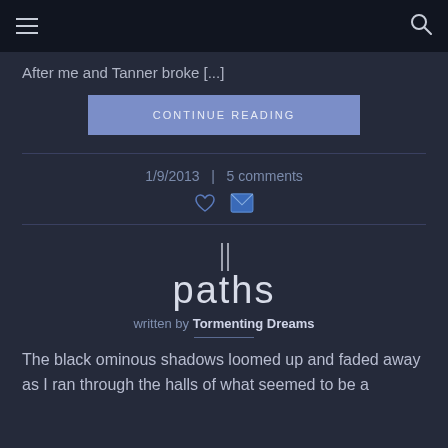≡   🔍
After me and Tanner broke [...]
CONTINUE READING
1/9/2013  |  5 comments
paths
written by Tormenting Dreams
The black ominous shadows loomed up and faded away as I ran through the halls of what seemed to be a